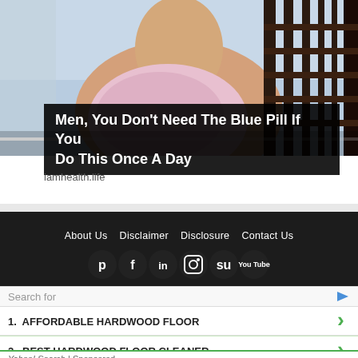[Figure (screenshot): Video player showing a woman sitting in a chair with a floral dress, with media playback controls visible at the bottom]
Men, You Don't Need The Blue Pill If You Do This Once A Day
iamhealth.life
About Us  Disclaimer  Disclosure  Contact Us
[Figure (infographic): Social media icon buttons: Pinterest, Facebook, LinkedIn, Instagram, StumbleUpon, YouTube]
Search for
1. AFFORDABLE HARDWOOD FLOOR
2. BEST HARDWOOD FLOOR CLEANER
Yahoo! Search | Sponsored